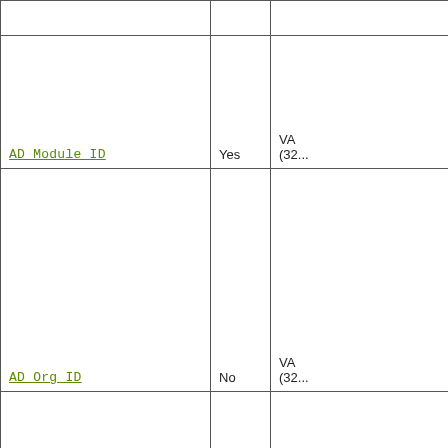| Column Name | Mandatory | Type |
| --- | --- | --- |
|  |  |  |
| AD_Module_ID | Yes | VA...
(32... |
| AD_Org_ID | No | VA...
(32... |
| AD_Process_ID | No | VA...
(32... |
| Seqno | No | DE...
(10... |